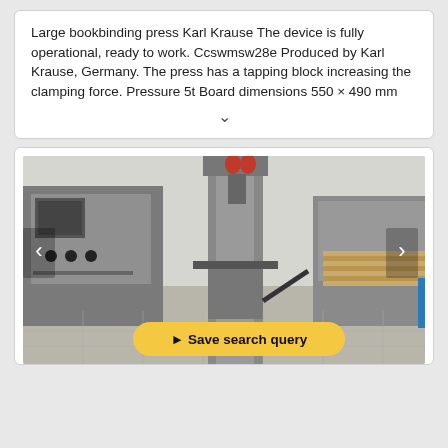Large bookbinding press Karl Krause The device is fully operational, ready to work. Ccswmsw28e Produced by Karl Krause, Germany. The press has a tapping block increasing the clamping force. Pressure 5t Board dimensions 550 × 490 mm
[Figure (photo): Photo of a large industrial bookbinding press Karl Krause in a workshop/factory setting. The press is a tall metal structure with clamping mechanism visible. Industrial equipment and shelving visible in the background. Navigation arrows on left and right sides of the photo, and a blue scroll-up button on the bottom right. A yellow 'Save search query' button overlaid at the bottom center.]